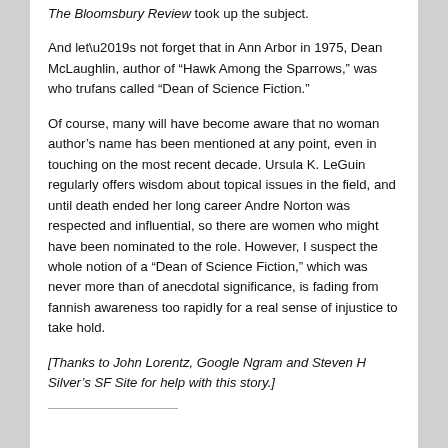The Bloomsbury Review took up the subject.
And let’s not forget that in Ann Arbor in 1975, Dean McLaughlin, author of “Hawk Among the Sparrows,” was who trufans called “Dean of Science Fiction.”
Of course, many will have become aware that no woman author’s name has been mentioned at any point, even in touching on the most recent decade. Ursula K. LeGuin regularly offers wisdom about topical issues in the field, and until death ended her long career Andre Norton was respected and influential, so there are women who might have been nominated to the role. However, I suspect the whole notion of a “Dean of Science Fiction,” which was never more than of anecdotal significance, is fading from fannish awareness too rapidly for a real sense of injustice to take hold.
[Thanks to John Lorentz, Google Ngram and Steven H Silver’s SF Site for help with this story.]